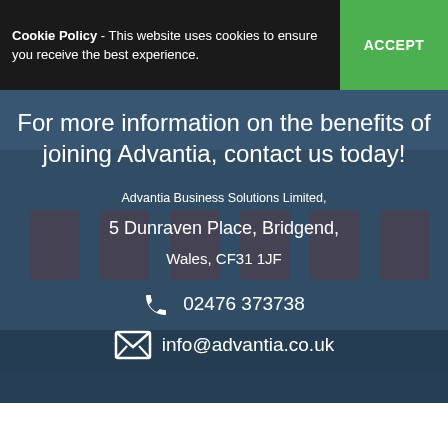Cookie Policy - This website uses cookies to ensure you receive the best experience. ACCEPT
For more information on the benefits of joining Advantia, contact us today!
Advantia Business Solutions Limited,
5 Dunraven Place, Bridgend,
Wales, CF31 1JF
02476 373738
info@advantia.co.uk